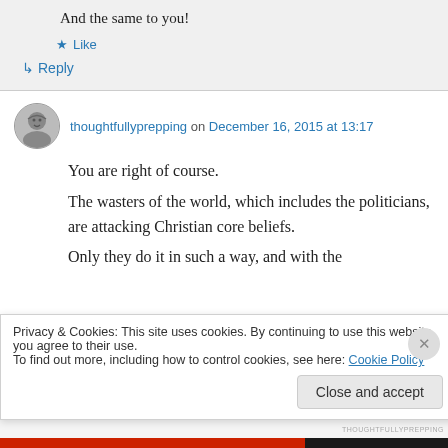And the same to you!
Like
Reply
thoughtfullyprepping on December 16, 2015 at 13:17
You are right of course.
The wasters of the world, which includes the politicians, are attacking Christian core beliefs.
Only they do it in such a way, and with the
Privacy & Cookies: This site uses cookies. By continuing to use this website, you agree to their use.
To find out more, including how to control cookies, see here: Cookie Policy
Close and accept